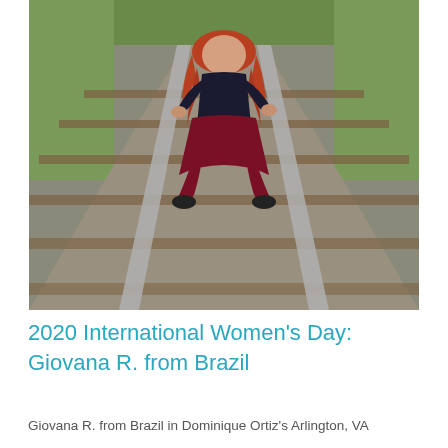[Figure (photo): A young woman with long red/auburn hair, wearing a dark navy long-sleeved top and dark red/burgundy skirt or dress, crouching on railroad tracks with gravel and wooden ties visible. Green grass visible at the top edges of the image.]
2020 International Women's Day: Giovana R. from Brazil
Giovana R. from Brazil in Dominique Ortiz's Arlington, VA